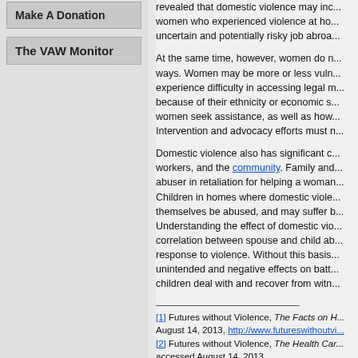Make A Donation
The VAW Monitor
revealed that domestic violence may inc... women who experienced violence at ho... uncertain and potentially risky job abroa...
At the same time, however, women do n... ways. Women may be more or less vuln... experience difficulty in accessing legal m... because of their ethnicity or economic s... women seek assistance, as well as how... Intervention and advocacy efforts must n...
Domestic violence also has significant c... workers, and the community. Family and... abuser in retaliation for helping a woman... Children in homes where domestic viole... themselves be abused, and may suffer b... Understanding the effect of domestic vio... correlation between spouse and child ab... response to violence. Without this basis... unintended and negative effects on batt... children deal with and recover from witn...
[1] Futures without Violence, The Facts on H... August 14, 2013, http://www.futureswithoutvi...
[2] Futures without Violence, The Health Car... accessed August 14, 2013, http://www.futureswithoutviolence.org/usorfil...